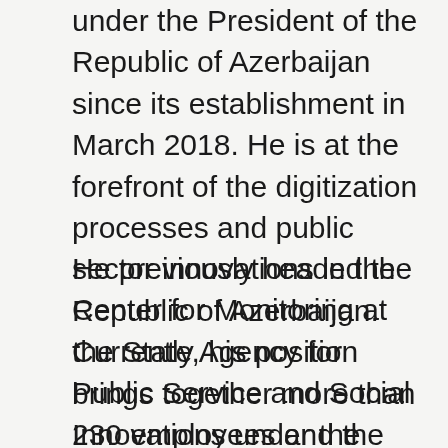under the President of the Republic of Azerbaijan since its establishment in March 2018. He is at the forefront of the digitization processes and public sector innovations in the Republic of Azerbaijan. Currently, his position brings together more than 230 employees and the Center has achieved more than 50 projects to date.
He previously headed the Center for Monitoring at the State Agency for Public Service and Social Innovations under the President of the Republic of Azerbaijan from 2017 to 2018. Jafarov also worked as the Deputy Head of the Department of e-Services Development and Social Innovations at the same Agency, where he got extensive insight into digital transformation in Azerbaijan from 2013 to 2017. Prior to those, he started his career as the Strategic Management Specialist at the